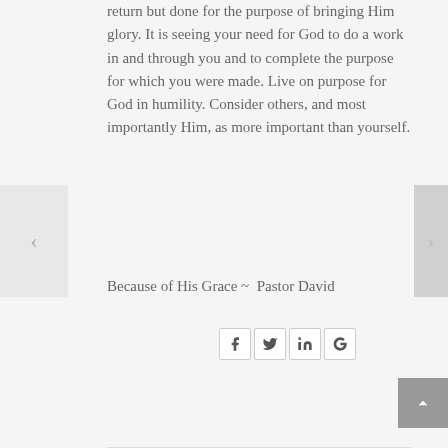return but done for the purpose of bringing Him glory. It is seeing your need for God to do a work in and through you and to complete the purpose for which you were made. Live on purpose for God in humility. Consider others, and most importantly Him, as more important than yourself.
Because of His Grace ~ Pastor David